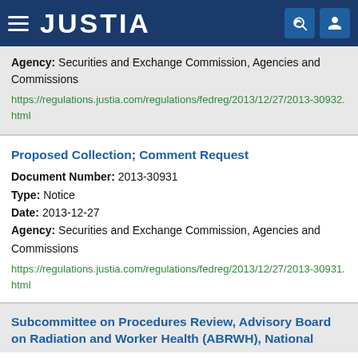JUSTIA
Agency: Securities and Exchange Commission, Agencies and Commissions
https://regulations.justia.com/regulations/fedreg/2013/12/27/2013-30932.html
Proposed Collection; Comment Request
Document Number: 2013-30931
Type: Notice
Date: 2013-12-27
Agency: Securities and Exchange Commission, Agencies and Commissions
https://regulations.justia.com/regulations/fedreg/2013/12/27/2013-30931.html
Subcommittee on Procedures Review, Advisory Board on Radiation and Worker Health (ABRWH), National